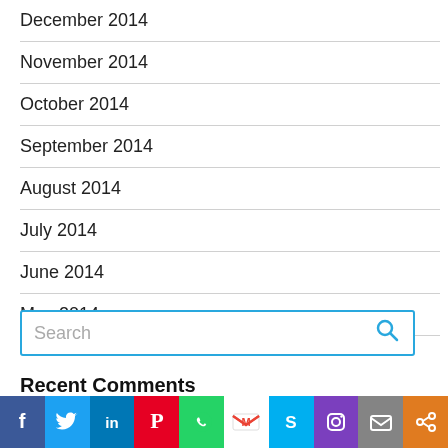December 2014
November 2014
October 2014
September 2014
August 2014
July 2014
June 2014
May 2014
Search
Recent Comments
[Figure (other): Social sharing bar with icons for Facebook, Twitter, LinkedIn, Pinterest, WhatsApp, Gmail, Skype, Instagram, Mail, and Share]